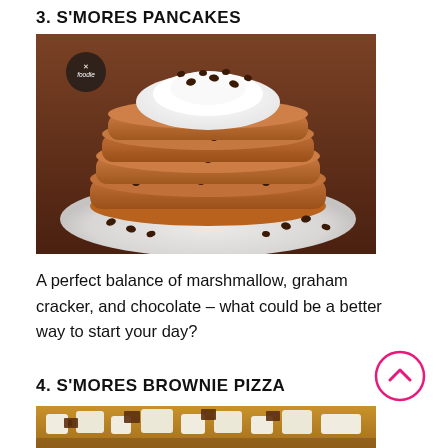3. S'MORES PANCAKES
[Figure (photo): Stack of chocolate chip pancakes topped with whipped cream and chocolate chips on a white plate, on a wooden surface]
A perfect balance of marshmallow, graham cracker, and chocolate – what could be a better way to start your day?
4. S'MORES BROWNIE PIZZA
[Figure (photo): Partial view of s'mores brownie pizza with marshmallows and chocolate pieces]